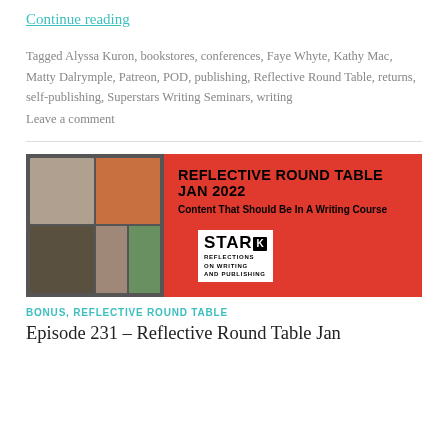Continue reading
Tagged Alyssa Kuron, bookstores, conferences, Faye Whyte, Kathy Mac, Matty Dalrymple, Patreon, POD, publishing, Reflective Round Table, returns, self-publishing, Superstars Writing Seminars, writing
Leave a comment
[Figure (photo): Podcast banner image for Reflective Round Table Jan 2022 episode titled 'Content That Should Be In A Writing Course' with Stark Reflections on Writing and Publishing logo, featuring a red background and a grid of video call participant photos.]
BONUS, REFLECTIVE ROUND TABLE
Episode 231 – Reflective Round Table Jan